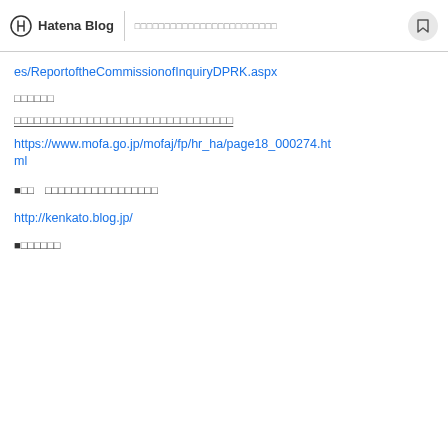Hatena Blog | □□□□□□□□□□□□□□□□□□□□□□□□
es/ReportoftheCommissionofInquiryDPRK.aspx
□□□□□□
□□□□□□□□□□□□□□□□□□□□□□□□□□□□□□□□□
https://www.mofa.go.jp/mofaj/fp/hr_ha/page18_000274.html
■□□　□□□□□□□□□□□□□□□□□
http://kenkato.blog.jp/
■□□□□□□